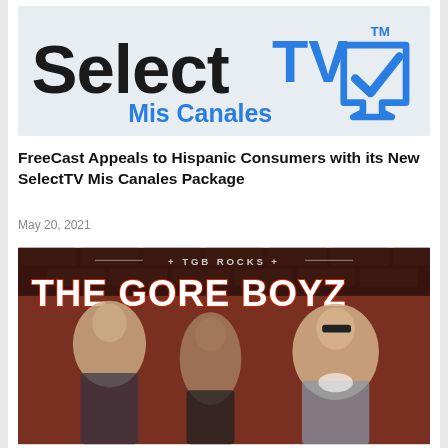[Figure (logo): SelectTV Mis Canales logo with blue checkmark/TV screen icon and 'Select' in black bold text, 'TV' in blue, 'Mis Canales' in blue beneath, TM mark in upper right]
FreeCast Appeals to Hispanic Consumers with its New SelectTV Mis Canales Package
May 20, 2021
[Figure (photo): Promotional photo of The Gore Boyz - three males posing in front of a brick wall background. Text overlay reads '+ TGB ROCKS +' at top and 'THE GORE BOYZ' in large white and red text.]